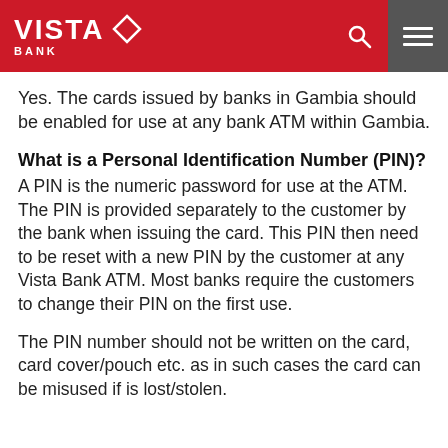VISTA BANK
Yes. The cards issued by banks in Gambia should be enabled for use at any bank ATM within Gambia.
What is a Personal Identification Number (PIN)?
A PIN is the numeric password for use at the ATM. The PIN is provided separately to the customer by the bank when issuing the card. This PIN then need to be reset with a new PIN by the customer at any Vista Bank ATM. Most banks require the customers to change their PIN on the first use.
The PIN number should not be written on the card, card cover/pouch etc. as in such cases the card can be misused if is lost/stolen.